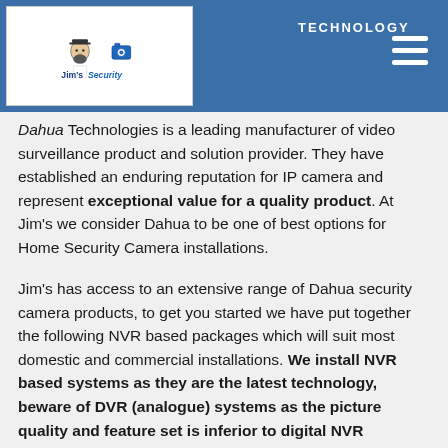[Figure (logo): Jim's Security logo with illustrated mascot figure, camera icon, and blue italic 'Security' text on white background]
TECHNOLOGY
Dahua Technologies is a leading manufacturer of video surveillance product and solution provider. They have established an enduring reputation for IP camera and represent exceptional value for a quality product. At Jim's we consider Dahua to be one of best options for Home Security Camera installations.
Jim's has access to an extensive range of Dahua security camera products, to get you started we have put together the following NVR based packages which will suit most domestic and commercial installations. We install NVR based systems as they are the latest technology, beware of DVR (analogue) systems as the picture quality and feature set is inferior to digital NVR technology.